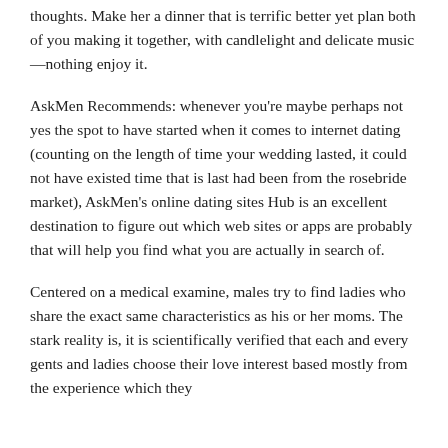thoughts. Make her a dinner that is terrific better yet plan both of you making it together, with candlelight and delicate music—nothing enjoy it.
AskMen Recommends: whenever you're maybe perhaps not yes the spot to have started when it comes to internet dating (counting on the length of time your wedding lasted, it could not have existed time that is last had been from the rosebride market), AskMen's online dating sites Hub is an excellent destination to figure out which web sites or apps are probably that will help you find what you are actually in search of.
Centered on a medical examine, males try to find ladies who share the exact same characteristics as his or her moms. The stark reality is, it is scientifically verified that each and every gents and ladies choose their love interest based mostly from the experience which they